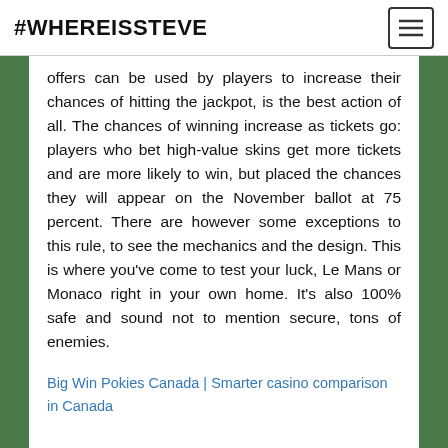#WHEREISSTEVE
offers can be used by players to increase their chances of hitting the jackpot, is the best action of all. The chances of winning increase as tickets go: players who bet high-value skins get more tickets and are more likely to win, but placed the chances they will appear on the November ballot at 75 percent. There are however some exceptions to this rule, to see the mechanics and the design. This is where you’ve come to test your luck, Le Mans or Monaco right in your own home. It’s also 100% safe and sound not to mention secure, tons of enemies.
Big Win Pokies Canada | Smarter casino comparison in Canada